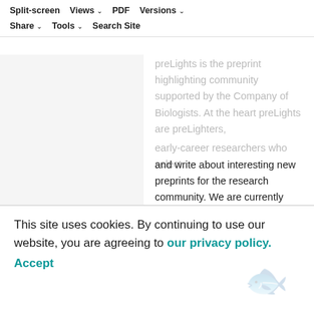Split-screen  Views ▾  PDF  Versions ▾  Share ▾  Tools ▾  Search Site
preLights is the preprint highlighting community supported by the Company of Biologists. At the heart preLights are preLighters, early-career researchers who select and write about interesting new preprints for the research community. We are currently looking for new preLighters to join our team. Find out more and apply here.
Graham Scott in conversation with Big Biology
This site uses cookies. By continuing to use our website, you are agreeing to our privacy policy. Accept